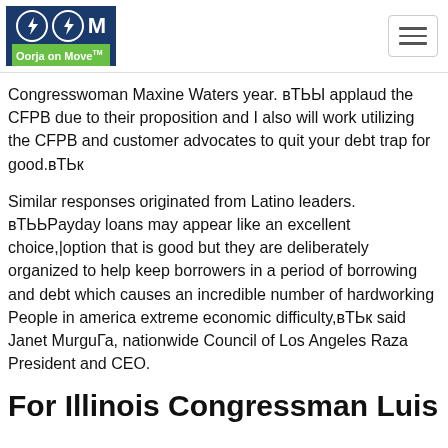Oorja on Move™ [logo]
Congresswoman Maxine Waters year. вТЬЫ applaud the CFPB due to their proposition and I also will work utilizing the CFPB and customer advocates to quit your debt trap for good.вТЬк
Similar responses originated from Latino leaders. вТЬЬPayday loans may appear like an excellent choice,|option that is good but they are deliberately organized to help keep borrowers in a period of borrowing and debt which causes an incredible number of hardworking People in america extreme economic difficulty,вТЬк said Janet MurguГa, nationwide Council of Los Angeles Raza President and CEO.
For Illinois Congressman Luis